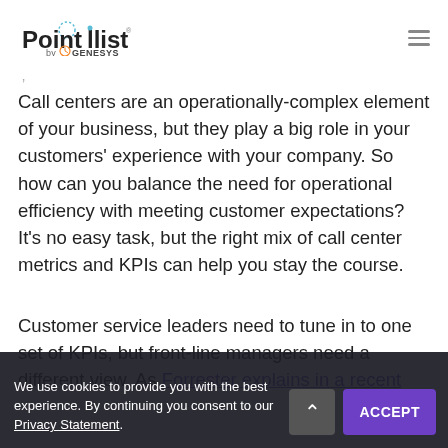Pointillist by Genesys
Call centers are an operationally-complex element of your business, but they play a big role in your customers' experience with your company. So how can you balance the need for operational efficiency with meeting customer expectations? It's no easy task, but the right mix of call center metrics and KPIs can help you stay the course.
Customer service leaders need to tune in to one set of KPIs, but front-line managers need a different view. As Forrester explains in a recent
We use cookies to provide you with the best experience. By continuing you consent to our Privacy Statement.